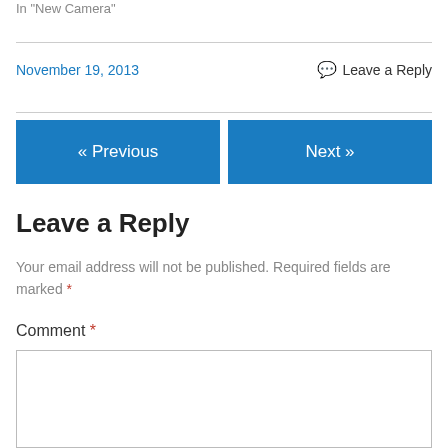In "New Camera"
November 19, 2013    Leave a Reply
« Previous    Next »
Leave a Reply
Your email address will not be published. Required fields are marked *
Comment *